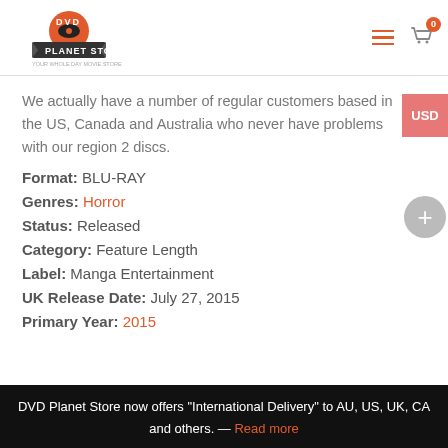DVD Planet Store — logo and navigation
We actually have a number of regular customers based in the US, Canada and Australia who never have problems with our region 2 discs.
Format: BLU-RAY
Genres: Horror
Status: Released
Category: Feature Length
Label: Manga Entertainment
UK Release Date: July 27, 2015
Primary Year: 2015
DVD Planet Store now offers "International Delivery" to AU, US, UK, CA and others. — Read more